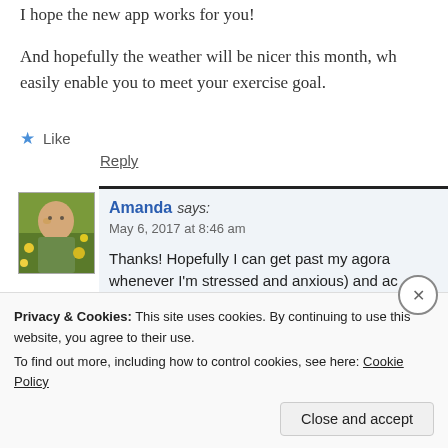I hope the new app works for you!
And hopefully the weather will be nicer this month, wh easily enable you to meet your exercise goal.
Like
Reply
Amanda says: May 6, 2017 at 8:46 am Thanks! Hopefully I can get past my agora whenever I'm stressed and anxious) and ac
Privacy & Cookies: This site uses cookies. By continuing to use this website, you agree to their use.
To find out more, including how to control cookies, see here: Cookie Policy
Close and accept